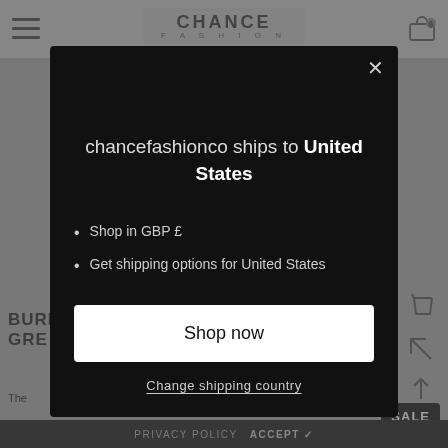CHANCE FASHION
chancefashionco ships to United States
Shop in GBP £
Get shipping options for United States
Shop now
Change shipping country
BURB GRE
The
£250.00  £140.0
SALE
PRIVACY POLICY  ACCEPT ✓